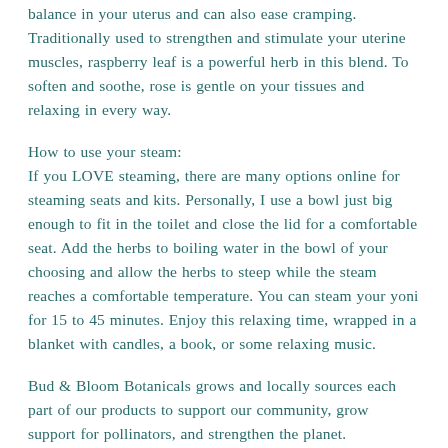balance in your uterus and can also ease cramping. Traditionally used to strengthen and stimulate your uterine muscles, raspberry leaf is a powerful herb in this blend. To soften and soothe, rose is gentle on your tissues and relaxing in every way.
How to use your steam:
If you LOVE steaming, there are many options online for steaming seats and kits. Personally, I use a bowl just big enough to fit in the toilet and close the lid for a comfortable seat. Add the herbs to boiling water in the bowl of your choosing and allow the herbs to steep while the steam reaches a comfortable temperature. You can steam your yoni for 15 to 45 minutes. Enjoy this relaxing time, wrapped in a blanket with candles, a book, or some relaxing music.
Bud & Bloom Botanicals grows and locally sources each part of our products to support our community, grow support for pollinators, and strengthen the planet.